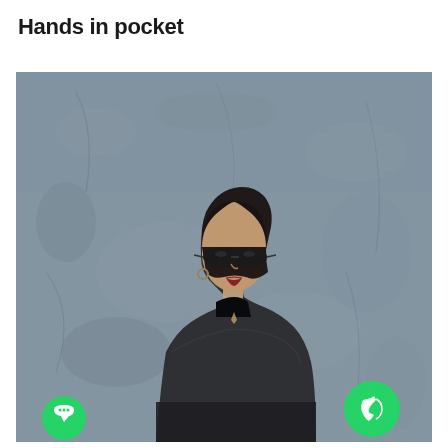Hands in pocket
[Figure (photo): A young Asian woman wearing small oval dark sunglasses and a dark textured jacket, looking upward, standing against a rough concrete wall. Two UI overlay buttons visible: a green WhatsApp icon (bottom right) and a green chat bubble icon (bottom left).]